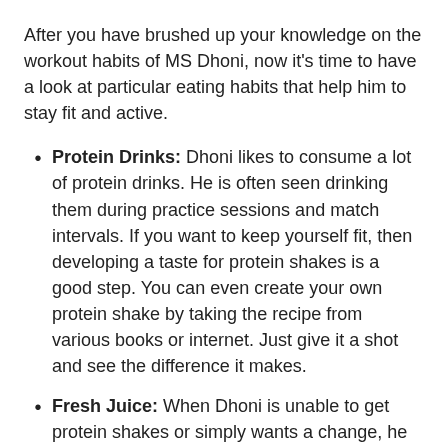After you have brushed up your knowledge on the workout habits of MS Dhoni, now it's time to have a look at particular eating habits that help him to stay fit and active.
Protein Drinks: Dhoni likes to consume a lot of protein drinks. He is often seen drinking them during practice sessions and match intervals. If you want to keep yourself fit, then developing a taste for protein shakes is a good step. You can even create your own protein shake by taking the recipe from various books or internet. Just give it a shot and see the difference it makes.
Fresh Juice: When Dhoni is unable to get protein shakes or simply wants a change, he prefers to drink fresh juice. You can also try adding juices to your daily menu. Don't